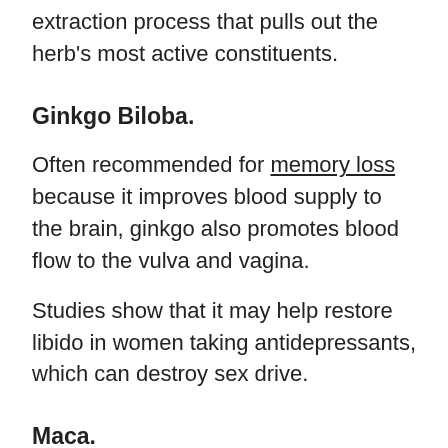extraction process that pulls out the herb's most active constituents.
Ginkgo Biloba.
Often recommended for memory loss because it improves blood supply to the brain, ginkgo also promotes blood flow to the vulva and vagina.
Studies show that it may help restore libido in women taking antidepressants, which can destroy sex drive.
Maca.